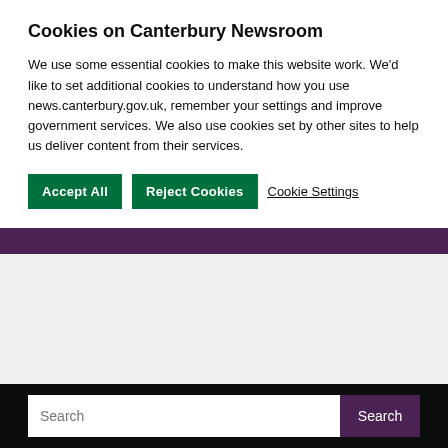Cookies on Canterbury Newsroom
We use some essential cookies to make this website work. We’d like to set additional cookies to understand how you use news.canterbury.gov.uk, remember your settings and improve government services. We also use cookies set by other sites to help us deliver content from their services.
Accept All | Reject Cookies | Cookie Settings